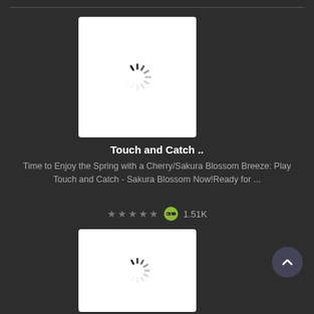[Figure (screenshot): Loading spinner on white card background - first card image]
Touch and Catch ..
Time to Enjoy the Spring with a Cherry/Sakura Blossom Breeze: Play Touch and Catch - Sakura Blossom Now!Ready for ...
★★★★★  🎮 1.51K
[Figure (screenshot): Loading spinner on white card background - second card image]